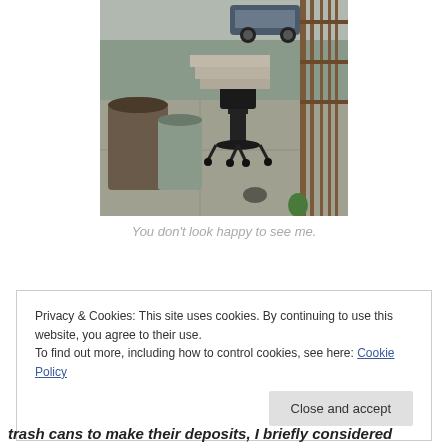[Figure (photo): Outdoor sidewalk scene showing trash cans and a black office chair next to a metal railing and steps, with a car visible in the background.]
You don't look happy to see me.
Privacy & Cookies: This site uses cookies. By continuing to use this website, you agree to their use.
To find out more, including how to control cookies, see here: Cookie Policy
trash cans to make their deposits, I briefly considered